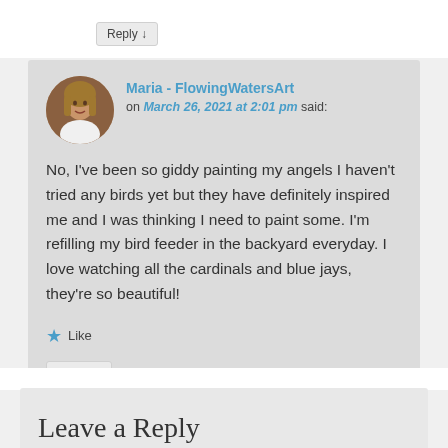Reply ↓
Maria - FlowingWatersArt on March 26, 2021 at 2:01 pm said:

No, I've been so giddy painting my angels I haven't tried any birds yet but they have definitely inspired me and I was thinking I need to paint some. I'm refilling my bird feeder in the backyard everyday. I love watching all the cardinals and blue jays, they're so beautiful!

★ Like

Reply ↓
Leave a Reply